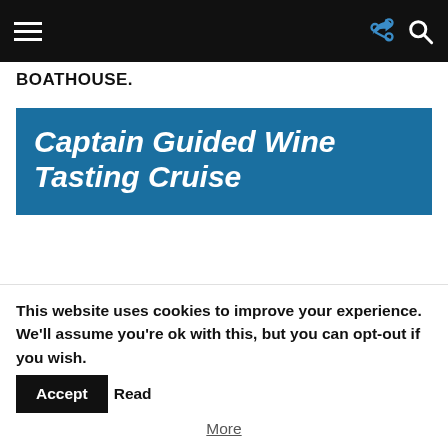BOATHOUSE.
Captain Guided Wine Tasting Cruise
The Captain Guided Wine Tasting Cruise takes place every Saturday at 6:30 p.m., aboard the Venezia Italian Water Taxi. Guests will be able to taste Prosecco upon boarding and taste 1 white wine and 2 red wines while
This website uses cookies to improve your experience. We'll assume you're ok with this, but you can opt-out if you wish. Accept Read More